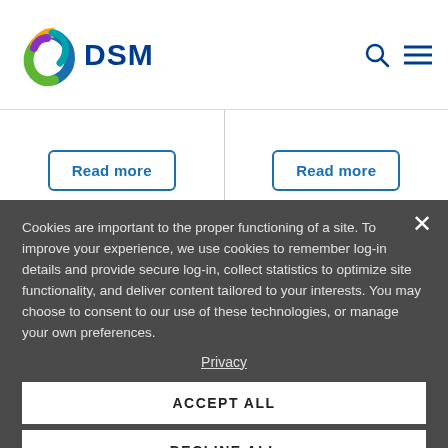DSM
Read more
Read more
Related Downloads
View all downloads >
Cookies are important to the proper functioning of a site. To improve your experience, we use cookies to remember log-in details and provide secure log-in, collect statistics to optimize site functionality, and deliver content tailored to your interests. You may choose to consent to our use of these technologies, or manage your own preferences.
Privacy
ACCEPT ALL
DECLINE ALL
MANAGE SETTINGS